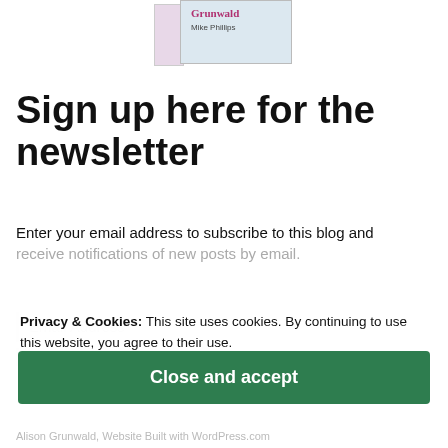[Figure (illustration): Partial book cover showing 'Grunwald' in pink/red text and 'Mike Phillips' as author on a light blue cover with a light purple spine]
Sign up here for the newsletter
Enter your email address to subscribe to this blog and receive notifications of new posts by email.
Privacy & Cookies: This site uses cookies. By continuing to use this website, you agree to their use.
To find out more, including how to control cookies, see here:
Cookie Policy
Close and accept
Alison Grunwald, Website Built with WordPress.com